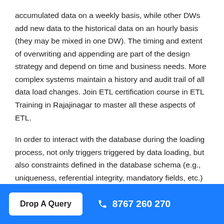accumulated data on a weekly basis, while other DWs add new data to the historical data on an hourly basis (they may be mixed in one DW). The timing and extent of overwriting and appending are part of the design strategy and depend on time and business needs. More complex systems maintain a history and audit trail of all data load changes. Join ETL certification course in ETL Training in Rajajinagar to master all these aspects of ETL.
In order to interact with the database during the loading process, not only triggers triggered by data loading, but also constraints defined in the database schema (e.g., uniqueness, referential integrity, mandatory fields, etc.) are applied. They also contribute to improving the data quality of the entire ETL process. Instructor-led classes of best ETL Training in Bangalore will make you familiar with all the techniques of ETL.
Drop A Query  8767 260 270